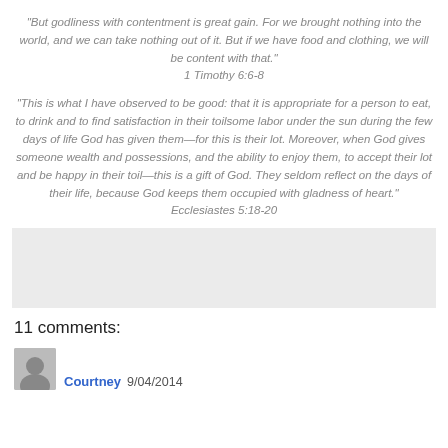"But godliness with contentment is great gain. For we brought nothing into the world, and we can take nothing out of it. But if we have food and clothing, we will be content with that."
1 Timothy 6:6-8
"This is what I have observed to be good: that it is appropriate for a person to eat, to drink and to find satisfaction in their toilsome labor under the sun during the few days of life God has given them—for this is their lot. Moreover, when God gives someone wealth and possessions, and the ability to enjoy them, to accept their lot and be happy in their toil—this is a gift of God. They seldom reflect on the days of their life, because God keeps them occupied with gladness of heart."
Ecclesiastes 5:18-20
[Figure (other): Gray rectangular box, likely an image or ad placeholder]
11 comments:
Courtney 9/04/2014